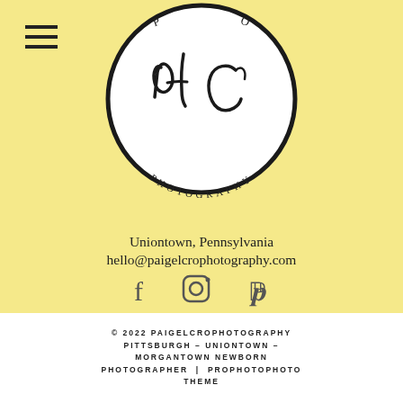[Figure (logo): Circular logo with stylized 'plc' script letters in center, text 'P' and 'O' at top, 'PHOTOGRAPHY' curved along bottom inside circle]
Uniontown, Pennsylvania
hello@paigelcrophotography.com
[Figure (infographic): Three social media icons: Facebook (f), Instagram (camera icon), Pinterest (p)]
© 2022 PAIGELCROPHOTOGRAPHY PITTSBURGH – UNIONTOWN – MORGANTOWN NEWBORN PHOTOGRAPHER | PROPHOTOPHOTO THEME